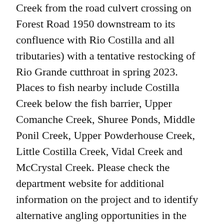Creek from the road culvert crossing on Forest Road 1950 downstream to its confluence with Rio Costilla and all tributaries) with a tentative restocking of Rio Grande cutthroat in spring 2023. Places to fish nearby include Costilla Creek below the fish barrier, Upper Comanche Creek, Shuree Ponds, Middle Ponil Creek, Upper Powderhouse Creek, Little Costilla Creek, Vidal Creek and McCrystal Creek. Please check the department website for additional information on the project and to identify alternative angling opportunities in the interim.
All U.S. Forest Service land in the Santa Fe National Forest Service district is currently closed due to wildfire concerns including Cowles Ponds. For more information on the Forest Service closure, visit the Santa Fe National Forest webpage or call the Santa Fe